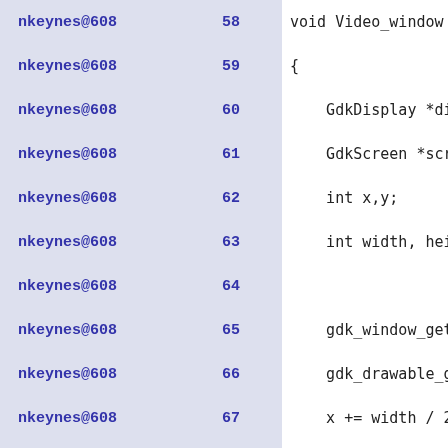nkeynes@608   58 void Video_window...
nkeynes@608   59 {
nkeynes@608   60     GdkDisplay *di
nkeynes@608   61     GdkScreen *scr
nkeynes@608   62     int x,y;
nkeynes@608   63     int width, hei
nkeynes@608   64
nkeynes@608   65     gdk_window_get
nkeynes@608   66     gdk_drawable_g
nkeynes@608   67     x += width / 2
nkeynes@608   68     y += height /